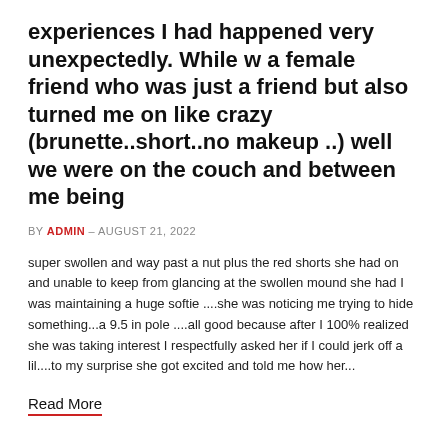experiences I had happened very unexpectedly. While w a female friend who was just a friend but also turned me on like crazy (brunette..short..no makeup ..) well we were on the couch and between me being
BY ADMIN - AUGUST 21, 2022
super swollen and way past a nut plus the red shorts she had on and unable to keep from glancing at the swollen mound she had I was maintaining a huge softie ....she was noticing me trying to hide something...a 9.5 in pole ....all good because after I 100% realized she was taking interest I respectfully asked her if I could jerk off a lil....to my surprise she got excited and told me how her...
Read More